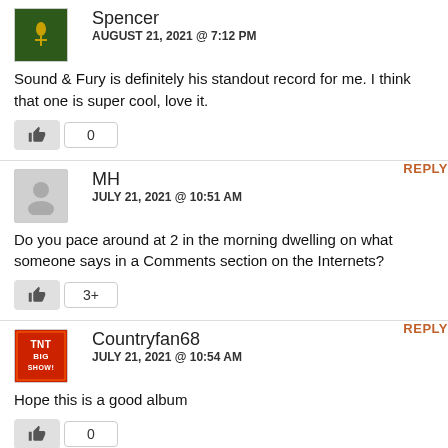Spencer
AUGUST 21, 2021 @ 7:12 PM
Sound & Fury is definitely his standout record for me. I think that one is super cool, love it.
MH
JULY 21, 2021 @ 10:51 AM
Do you pace around at 2 in the morning dwelling on what someone says in a Comments section on the Internets?
Countryfan68
JULY 21, 2021 @ 10:54 AM
Hope this is a good album
Jorm